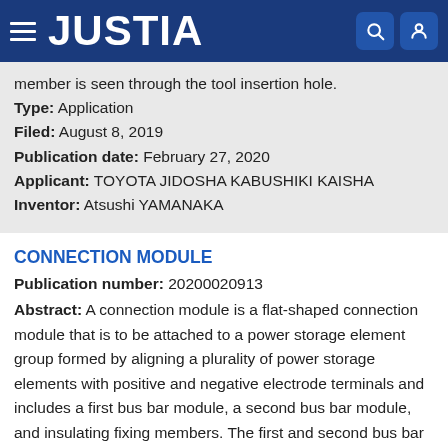JUSTIA
member is seen through the tool insertion hole.
Type: Application
Filed: August 8, 2019
Publication date: February 27, 2020
Applicant: TOYOTA JIDOSHA KABUSHIKI KAISHA
Inventor: Atsushi YAMANAKA
CONNECTION MODULE
Publication number: 20200020913
Abstract: A connection module is a flat-shaped connection module that is to be attached to a power storage element group formed by aligning a plurality of power storage elements with positive and negative electrode terminals and includes a first bus bar module, a second bus bar module, and insulating fixing members. The first and second bus bar modules include